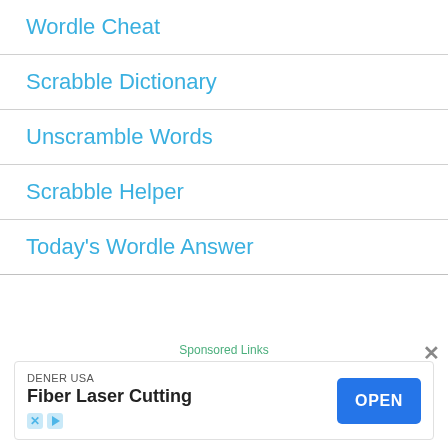Wordle Cheat
Scrabble Dictionary
Unscramble Words
Scrabble Helper
Today's Wordle Answer
Sponsored Links
DENER USA
Fiber Laser Cutting
OPEN